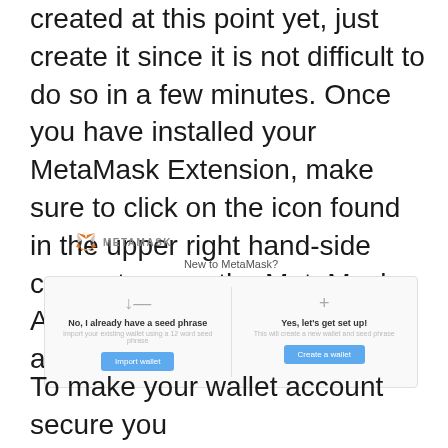You may not have a cryptocurrency wallet created at this point yet, just create it since it is not difficult to do so in a few minutes. Once you have installed your MetaMask Extension, make sure to click on the icon found in the upper right hand-side corner to open the MetaMask. Also, you have to read and accept the terms stated.
[Figure (screenshot): MetaMask browser extension UI showing 'New to MetaMask?' screen with two options: 'No, I already have a seed phrase' with 'Import wallet' button, and 'Yes, let's get set up!' with 'Create a wallet' button.]
To make your wallet account secure you